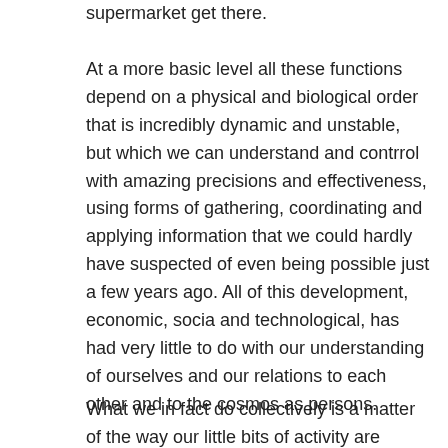supermarket get there.
At a more basic level all these functions depend on a physical and biological order that is incredibly dynamic and unstable, but which we can understand and contrrol with amazing precisions and effectiveness, using forms of gathering, coordinating and applying information that we could hardly have suspected of even being possible just a few years ago. All of this development, economic, socia and technological, has had very little to do with our understanding of ourselves and our relations to each other and to the cosmos as persons.
What we in fact do collectively is a matter of the way our little bits of activity are linked together in